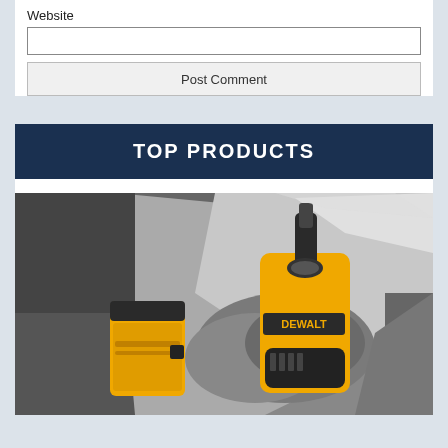Website
[Figure (photo): DeWalt cordless drill/driver in yellow and black being held by a person's hand near a metal surface, with a battery pack visible on the left. The image is partially in color (yellow drill) with a gray/monochrome background.]
TOP PRODUCTS